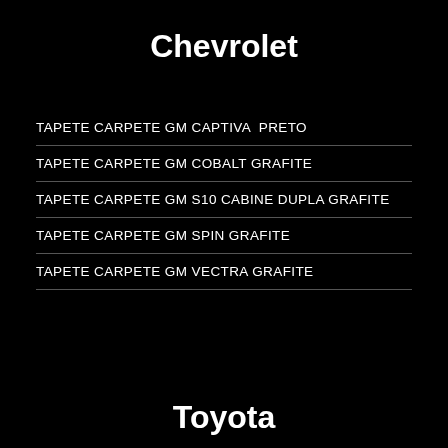Chevrolet
TAPETE CARPETE GM CAPTIVA  PRETO
TAPETE CARPETE GM COBALT GRAFITE
TAPETE CARPETE GM S10 CABINE DUPLA GRAFITE
TAPETE CARPETE GM SPIN GRAFITE
TAPETE CARPETE GM VECTRA GRAFITE
Toyota